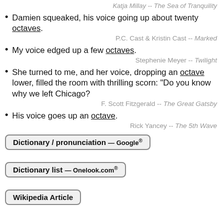Katja Millay  --  The Sea of Tranquility
Damien squeaked, his voice going up about twenty octaves.
P.C. Cast & Kristin Cast  --  Marked
My voice edged up a few octaves.
Stephenie Meyer  --  Twilight
She turned to me, and her voice, dropping an octave lower, filled the room with thrilling scorn: "Do you know why we left Chicago?
F. Scott Fitzgerald  --  The Great Gatsby
His voice goes up an octave.
Rick Yancey  --  The 5th Wave
Dictionary / pronunciation — Google®
Dictionary list — Onelook.com®
Wikipedia Article